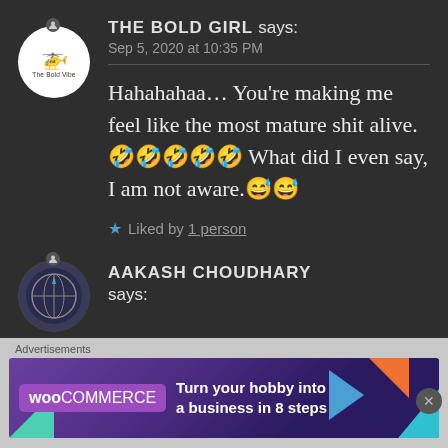THE BOLD GIRL says: Sep 5, 2020 at 10:35 PM
Hahahahaa… You're making me feel like the most mature shit alive.🤣🤣🤣🤣🤣 What did I even say, I am not aware.😅😅
★ Liked by 1 person
AAKASH CHOUDHARY says:
[Figure (screenshot): WooCommerce advertisement banner: Turn your hobby into a business in 8 steps]
Advertisements